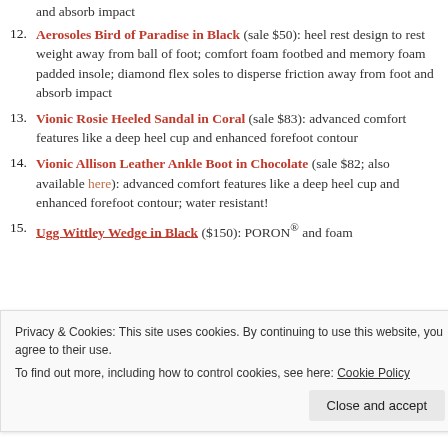and absorb impact
12. Aerosoles Bird of Paradise in Black (sale $50): heel rest design to rest weight away from ball of foot; comfort foam footbed and memory foam padded insole; diamond flex soles to disperse friction away from foot and absorb impact
13. Vionic Rosie Heeled Sandal in Coral (sale $83): advanced comfort features like a deep heel cup and enhanced forefoot contour
14. Vionic Allison Leather Ankle Boot in Chocolate (sale $82; also available here): advanced comfort features like a deep heel cup and enhanced forefoot contour; water resistant!
15. Ugg Wittley Wedge in Black ($150): BORON® and foam
Privacy & Cookies: This site uses cookies. By continuing to use this website, you agree to their use. To find out more, including how to control cookies, see here: Cookie Policy
Close and accept